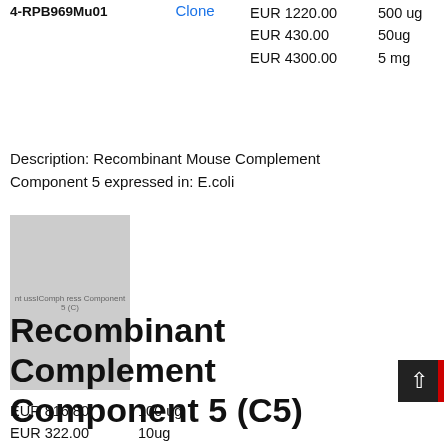4-RPB969Mu01
Clone
| Price | Quantity |
| --- | --- |
| EUR 1220.00 | 500 ug |
| EUR 430.00 | 50ug |
| EUR 4300.00 | 5 mg |
Description: Recombinant Mouse Complement Component 5 expressed in: E.coli
[Figure (photo): Product image placeholder for Recombinant Mouse Complement Component 5 (C5), gray placeholder box with text 'nt ussIComph ress Component5 (C)']
Recombinant Complement Component 5 (C5)
| Price | Quantity |
| --- | --- |
| EUR 816.80 | 100 ug |
| EUR 322.00 | 10ug |
| EUR 2788.00 | 1 mg |
| EUR 996.00 | 200 ug |
4-RPB969R...01
Cloud-